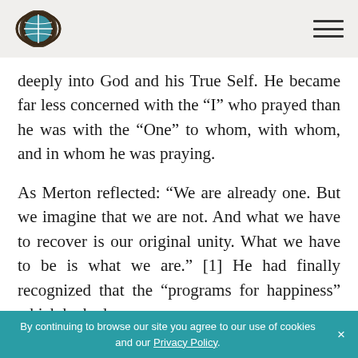[Logo] [Hamburger menu]
deeply into God and his True Self. He became far less concerned with the “I” who prayed than he was with the “One” to whom, with whom, and in whom he was praying.
As Merton reflected: “We are already one. But we imagine that we are not. And what we have to recover is our original unity. What we have to be is what we are.” [1] He had finally recognized that the “programs for happiness” which he had
By continuing to browse our site you agree to our use of cookies and our Privacy Policy. ×